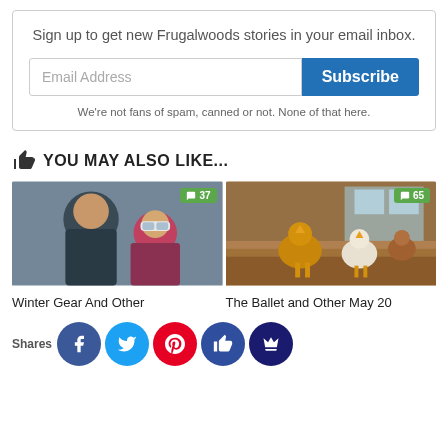Sign up to get new Frugalwoods stories in your email inbox.
Email Address
Subscribe
We're not fans of spam, canned or not. None of that here.
YOU MAY ALSO LIKE...
[Figure (photo): Woman and child in ski gear, smiling. Comment badge showing 37.]
[Figure (photo): Chickens on a wooden ledge indoors. Comment badge showing 65.]
Winter Gear And Other
The Ballet and Other May 20
Shares